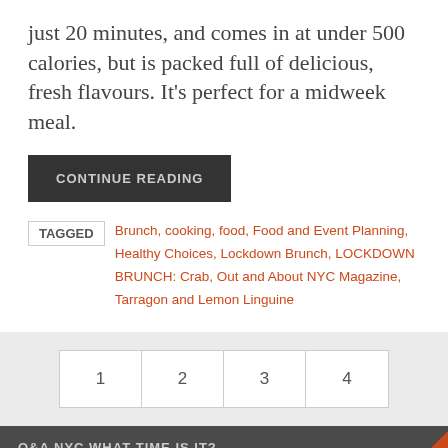just 20 minutes, and comes in at under 500 calories, but is packed full of delicious, fresh flavours. It's perfect for a midweek meal.
CONTINUE READING
TAGGED   Brunch, cooking, food, Food and Event Planning, Healthy Choices, Lockdown Brunch, LOCKDOWN BRUNCH: Crab, Out and About NYC Magazine, Tarragon and Lemon Linguine
1  2  3  4
O&A NYC WHAT TIME IS IT?
Saturday, 20th August 2022 | 3:55:42